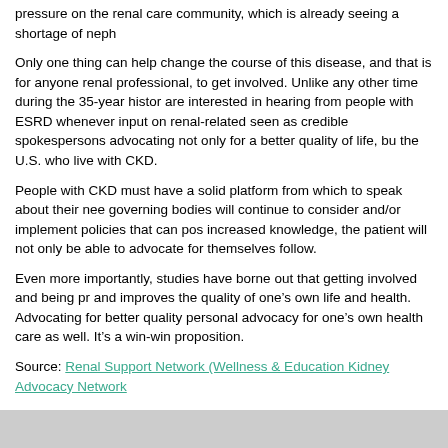pressure on the renal care community, which is already seeing a shortage of neph
Only one thing can help change the course of this disease, and that is for anyone renal professional, to get involved. Unlike any other time during the 35-year histor are interested in hearing from people with ESRD whenever input on renal-related seen as credible spokespersons advocating not only for a better quality of life, bu the U.S. who live with CKD.
People with CKD must have a solid platform from which to speak about their nee governing bodies will continue to consider and/or implement policies that can pos increased knowledge, the patient will not only be able to advocate for themselves follow.
Even more importantly, studies have borne out that getting involved and being pr and improves the quality of one’s own life and health. Advocating for better quality personal advocacy for one’s own health care as well. It’s a win-win proposition.
Source: Renal Support Network (Wellness & Education Kidney Advocacy Network
< Back